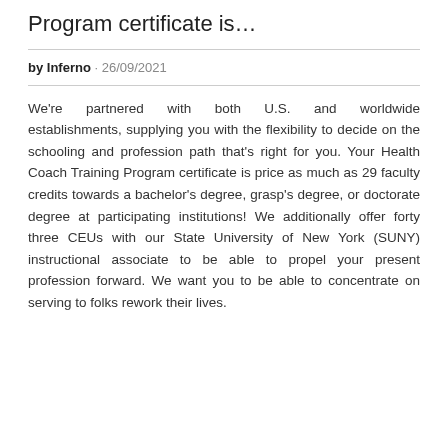Program certificate is…
by Inferno · 26/09/2021
We're partnered with both U.S. and worldwide establishments, supplying you with the flexibility to decide on the schooling and profession path that's right for you. Your Health Coach Training Program certificate is price as much as 29 faculty credits towards a bachelor's degree, grasp's degree, or doctorate degree at participating institutions! We additionally offer forty three CEUs with our State University of New York (SUNY) instructional associate to be able to propel your present profession forward. We want you to be able to concentrate on serving to folks rework their lives.